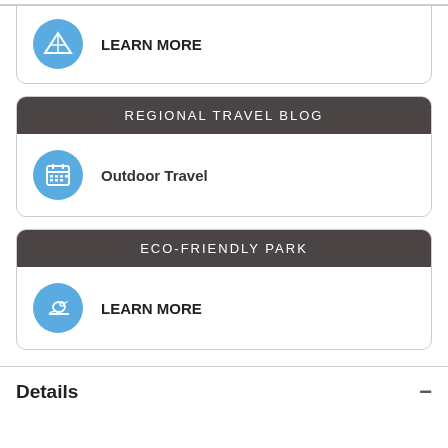LEARN MORE
REGIONAL TRAVEL BLOG
Outdoor Travel
ECO-FRIENDLY PARK
LEARN MORE
Details